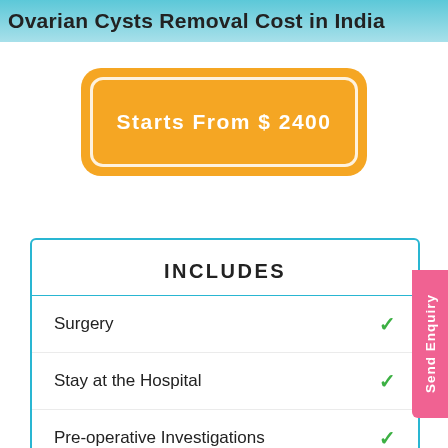Ovarian Cysts Removal Cost in India
[Figure (infographic): Yellow badge/banner shape with white border outline and text 'Starts From $ 2400' in white on orange/yellow background]
INCLUDES
Surgery ✓
Stay at the Hospital ✓
Pre-operative Investigations ✓